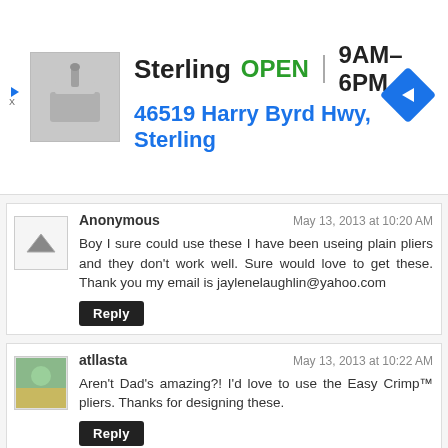[Figure (infographic): Advertisement banner for Sterling showing store photo, OPEN status, hours 9AM-6PM, address 46519 Harry Byrd Hwy, Sterling, and navigation arrow icon]
Anonymous  May 13, 2013 at 10:20 AM
Boy I sure could use these I have been useing plain pliers and they don't work well. Sure would love to get these. Thank you my email is jaylenelaughlin@yahoo.com
Reply
atllasta  May 13, 2013 at 10:22 AM
Aren't Dad's amazing?! I'd love to use the Easy Crimp™ pliers. Thanks for designing these.
Reply
PA  May 13, 2013 at 10:22 AM
Would love to win these. Email is randolpabill@msn.com
Reply